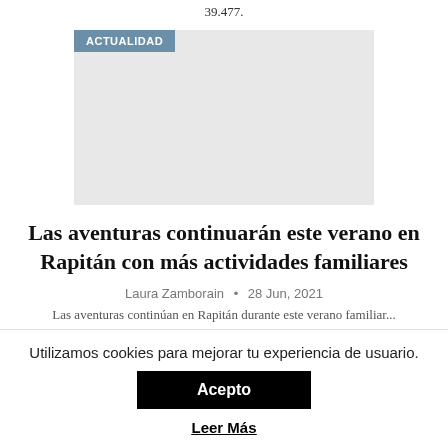39.477.
[Figure (other): Article thumbnail image with ACTUALIDAD category tag overlay on a grey placeholder image]
Las aventuras continuarán este verano en Rapitán con más actividades familiares
Laura Zamborain • 28 Jun, 2021
Utilizamos cookies para mejorar tu experiencia de usuario.
Acepto
Leer Más